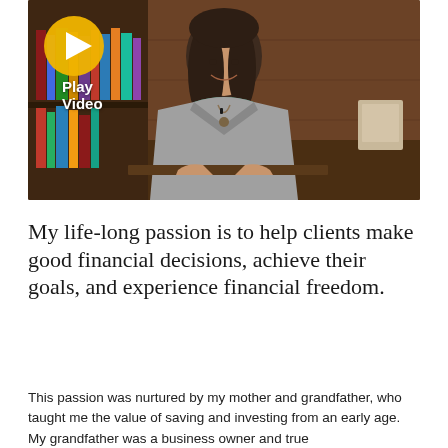[Figure (photo): Video thumbnail showing a woman in a grey blazer and teal top seated in an office with bookshelves behind her. A yellow play button icon and 'Play Video' text overlay the upper-left corner of the image.]
My life-long passion is to help clients make good financial decisions, achieve their goals, and experience financial freedom.
This passion was nurtured by my mother and grandfather, who taught me the value of saving and investing from an early age. My grandfather was a business owner and true